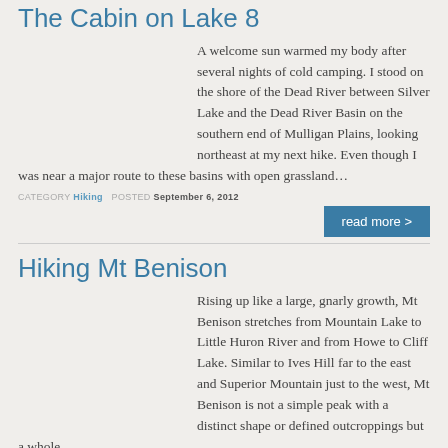The Cabin on Lake 8
[Figure (photo): Landscape photo showing a grassy field with wooded hills and blue sky]
A welcome sun warmed my body after several nights of cold camping. I stood on the shore of the Dead River between Silver Lake and the Dead River Basin on the southern end of Mulligan Plains, looking northeast at my next hike. Even though I was near a major route to these basins with open grassland…
CATEGORY Hiking   POSTED September 6, 2012
read more >
Hiking Mt Benison
[Figure (photo): Landscape photo showing a mountain hill with sparse trees and cloudy blue sky]
Rising up like a large, gnarly growth, Mt Benison stretches from Mountain Lake to Little Huron River and from Howe to Cliff Lake. Similar to Ives Hill far to the east and Superior Mountain just to the west, Mt Benison is not a simple peak with a distinct shape or defined outcroppings but a whole…
CATEGORY Hiking   POSTED June 3, 2012